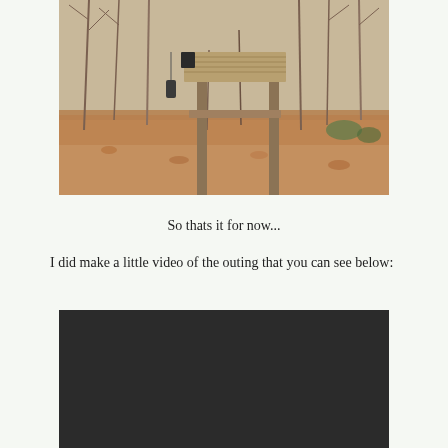[Figure (photo): A wooden elevated hunting stand or deer blind structure in a bare winter forest with fallen leaves on the ground. The structure has a flat wooden platform on top supported by posts, with a shelf or step partway up.]
So thats it for now...
I did make a little video of the outing that you can see below:
[Figure (screenshot): Dark/black video player placeholder]